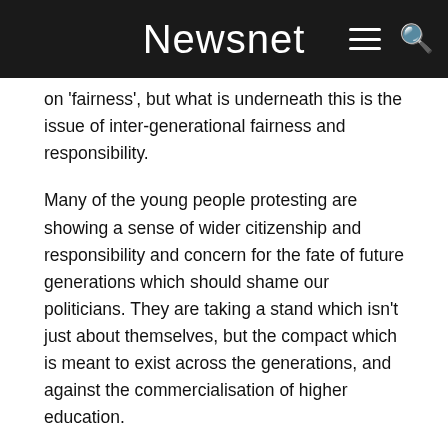Newsnet
on 'fairness', but what is underneath this is the issue of inter-generational fairness and responsibility.
Many of the young people protesting are showing a sense of wider citizenship and responsibility and concern for the fate of future generations which should shame our politicians. They are taking a stand which isn't just about themselves, but the compact which is meant to exist across the generations, and against the commercialisation of higher education.
Our political class and the baby boomer generation don't understand this with their short-term, selfish thinking. Strangely enough the most coherent critique of this baby boomer entitlement culture has come from David Willetts' 'The Pinch' whichhisthe from the…